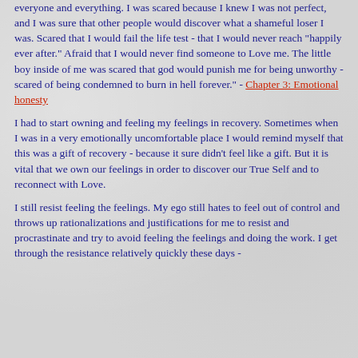everyone and everything.  I was scared because I knew I was not perfect, and I was sure that other people would discover what a shameful loser I was.  Scared that I would fail the life test - that I would never reach "happily ever after."  Afraid that I would never find someone to Love me.  The little boy inside of me was scared that god would punish me for being unworthy - scared of being condemned to burn in hell forever." - Chapter 3: Emotional honesty
I had to start owning and feeling my feelings in recovery.  Sometimes when I was in a very emotionally uncomfortable place I would remind myself that this was a gift of recovery - because it sure didn't feel like a gift.  But it is vital that we own our feelings in order to discover our True Self and to reconnect with Love.
I still resist feeling the feelings.  My ego still hates to feel out of control and throws up rationalizations and justifications for me to resist and procrastinate and try to avoid feeling the feelings and doing the work.  I get through the resistance relatively quickly these days -